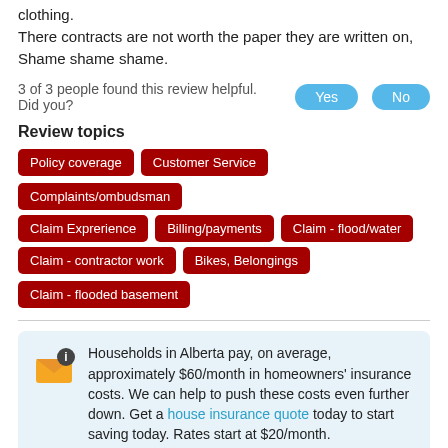Beware of your good neighbour, they are truly a wolf in sheeps clothing.
There contracts are not worth the paper they are written on, Shame shame shame.
3 of 3 people found this review helpful. Did you? Yes No
Review topics
Policy coverage
Customer Service
Complaints/ombudsman
Claim Exprerience
Billing/payments
Claim - flood/water
Claim - contractor work
Bikes, Belongings
Claim - flooded basement
Households in Alberta pay, on average, approximately $60/month in homeowners' insurance costs. We can help to push these costs even further down. Get a house insurance quote today to start saving today. Rates start at $20/month.
Zero satisfaction . ZERO STARS